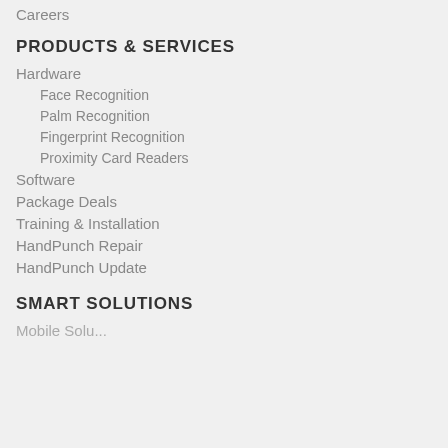Careers
PRODUCTS & SERVICES
Hardware
Face Recognition
Palm Recognition
Fingerprint Recognition
Proximity Card Readers
Software
Package Deals
Training & Installation
HandPunch Repair
HandPunch Update
SMART SOLUTIONS
Mobile Solutions